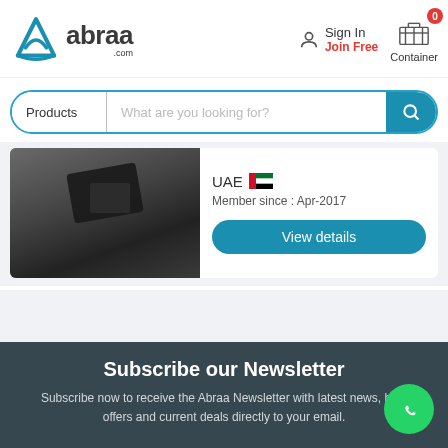[Figure (logo): Abraa.com logo with blue triangular icon and text]
Sign In
Join Free
Container 0
Products | What are you looking for?
[Figure (photo): Product photo showing dark automotive or mechanical part on gray surface]
UAE
Member since : Apr-2017
View details
Subscribe our Newsletter
Subscribe now to receive the Abraa Newsletter with latest news, best offers and current deals directly to your email.